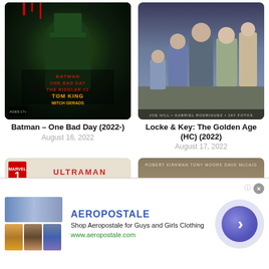[Figure (illustration): Batman – One Bad Day comic book cover featuring a figure in green with a top hat, with red title text on a dark green background]
Batman – One Bad Day (2022-)
August 16, 2022
[Figure (illustration): Locke & Key: The Golden Age (HC) comic book cover with group of characters in Victorian-era clothing]
Locke & Key: The Golden Age (HC) (2022)
August 17, 2022
[Figure (illustration): Ultraman: The Mystery of UltraSeven #1 Marvel comic book cover with red and white text on light background]
[Figure (illustration): The Walking Dead comic book cover with yellow title text on tan/brown background, creator credits at top]
AEROPOSTALE
Shop Aeropostale for Guys and Girls Clothing
www.aeropostale.com